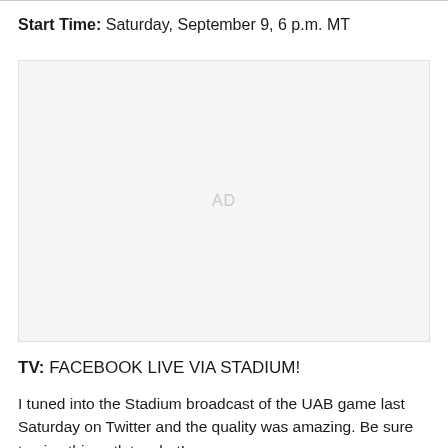Start Time: Saturday, September 9, 6 p.m. MT
[Figure (other): Advertisement placeholder block with 'AD' label in center]
TV: FACEBOOK LIVE VIA STADIUM!
I tuned into the Stadium broadcast of the UAB game last Saturday on Twitter and the quality was amazing. Be sure to give this outlet a shot!